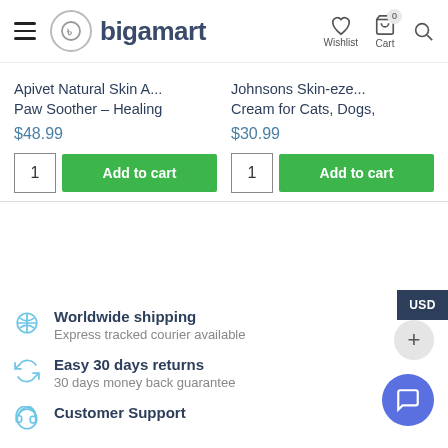[Figure (logo): Bigamart logo with circle icon containing lowercase b symbol, and navigation icons for Wishlist, Cart (0), and Search]
Apivet Natural Skin A...
Paw Soother – Healing
$48.99
1
Add to cart
Johnsons Skin-eze...
Cream for Cats, Dogs,
$30.99
1
Add to cart
USD
Worldwide shipping
Express tracked courier available
Easy 30 days returns
30 days money back guarantee
Customer Support